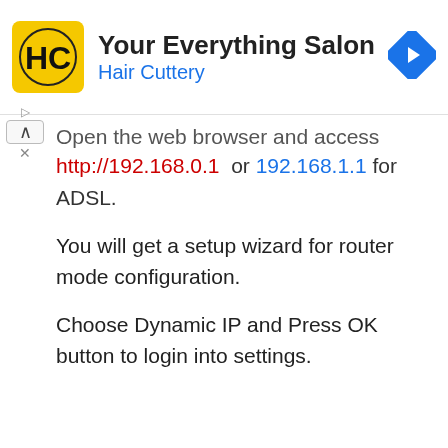[Figure (logo): Hair Cuttery advertisement banner with yellow HC logo, title 'Your Everything Salon', subtitle 'Hair Cuttery' in blue, and a blue navigation arrow diamond icon on the right]
Open the web browser and access http://192.168.0.1 or 192.168.1.1 for ADSL.
You will get a setup wizard for router mode configuration.
Choose Dynamic IP and Press OK button to login into settings.